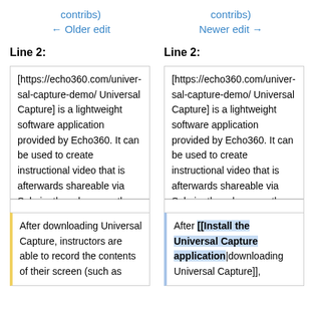contribs)
← Older edit
contribs)
Newer edit →
Line 2:
Line 2:
[https://echo360.com/universal-capture-demo/ Universal Capture] is a lightweight software application provided by Echo360. It can be used to create instructional video that is afterwards shareable via Sakai, other places on the web, or communication tools like email.
[https://echo360.com/universal-capture-demo/ Universal Capture] is a lightweight software application provided by Echo360. It can be used to create instructional video that is afterwards shareable via Sakai, other places on the web, or communication tools like email.
After downloading Universal Capture, instructors are able to record the contents of their screen (such as
After [[Install the Universal Capture application|downloading Universal Capture]],